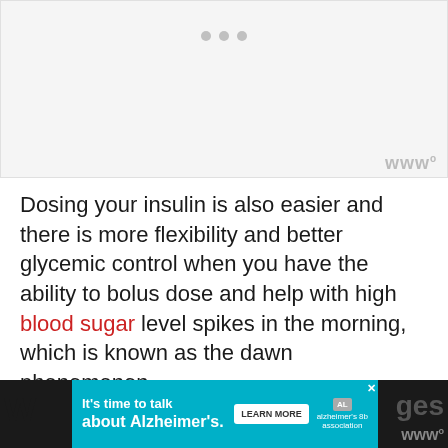[Figure (other): Light gray image placeholder with three gray dots centered near top and a watermark logo at bottom right]
Dosing your insulin is also easier and there is more flexibility and better glycemic control when you have the ability to bolus dose and help with high blood sugar level spikes in the morning, which is known as the dawn phenomenon.
Despite all the benefits, always carry injectable insulin with you in case it may be needed.
It's time to talk about Alzheimer's. LEARN MORE [Alzheimer's Association logo]